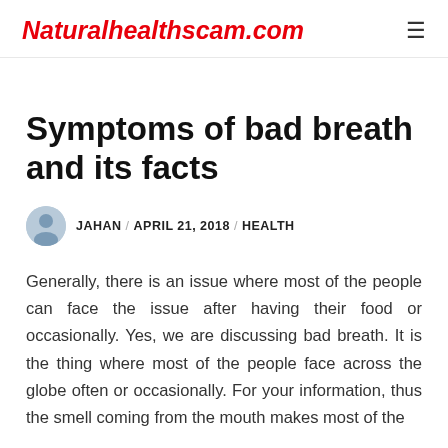Naturalhealthscam.com
Symptoms of bad breath and its facts
JAHAN / APRIL 21, 2018 / HEALTH
Generally, there is an issue where most of the people can face the issue after having their food or occasionally. Yes, we are discussing bad breath. It is the thing where most of the people face across the globe often or occasionally. For your information, thus the smell coming from the mouth makes most of the